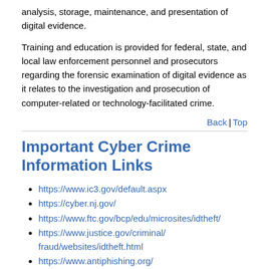analysis, storage, maintenance, and presentation of digital evidence.
Training and education is provided for federal, state, and local law enforcement personnel and prosecutors regarding the forensic examination of digital evidence as it relates to the investigation and prosecution of computer-related or technology-facilitated crime.
Back | Top
Important Cyber Crime Information Links
https://www.ic3.gov/default.aspx
https://cyber.nj.gov/
https://www.ftc.gov/bcp/edu/microsites/idtheft/
https://www.justice.gov/criminal/fraud/websites/idtheft.html
https://www.antiphishing.org/
https://www.ftc.gov/sentinel/